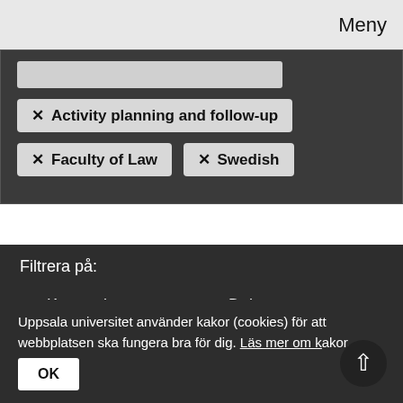Meny
× Activity planning and follow-up
× Faculty of Law
× Swedish
Filtrera på:
v Kategori
v Dokumenttyp
v Beslutsfattare
v Språk
Din sökning efter "May-Britt Öhman" gav inga träffar
Uppsala universitet använder kakor (cookies) för att webbplatsen ska fungera bra för dig. Läs mer om kakor.
OK